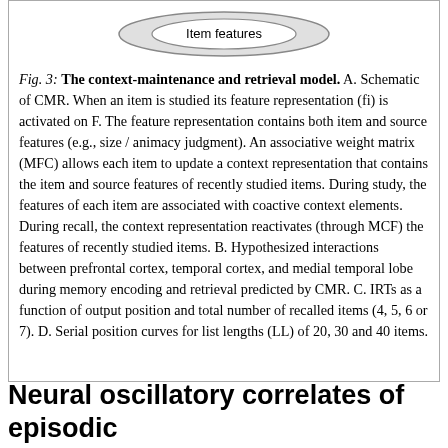[Figure (schematic): Partial schematic of CMR model showing an oval labeled 'Item features' at the top]
Fig. 3: The context-maintenance and retrieval model. A. Schematic of CMR. When an item is studied its feature representation (fi) is activated on F. The feature representation contains both item and source features (e.g., size / animacy judgment). An associative weight matrix (MFC) allows each item to update a context representation that contains the item and source features of recently studied items. During study, the features of each item are associated with coactive context elements. During recall, the context representation reactivates (through MCF) the features of recently studied items. B. Hypothesized interactions between prefrontal cortex, temporal cortex, and medial temporal lobe during memory encoding and retrieval predicted by CMR. C. IRTs as a function of output position and total number of recalled items (4, 5, 6 or 7). D. Serial position curves for list lengths (LL) of 20, 30 and 40 items.
Neural oscillatory correlates of episodic